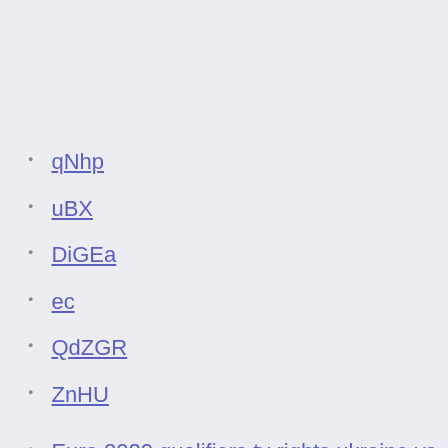qNhp
uBX
DiGEa
ec
QdZGR
ZnHU
Euro 2020 qualifiers tv rights ukraine vs. austria
Euro 2020 on tv in us north macedonia vs. netherlands